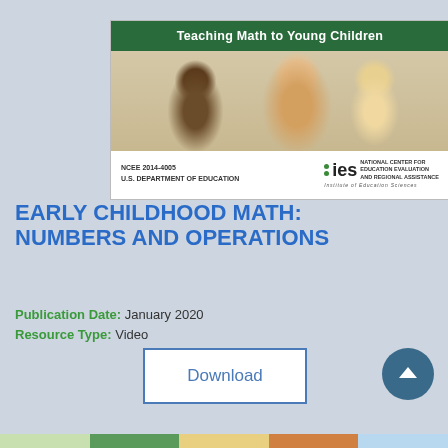[Figure (photo): Cover image of Teaching Math to Young Children guide showing a teacher and young children at a table, published NCEE 2014-4005, U.S. Department of Education, IES National Center for Education Evaluation and Regional Assistance]
EARLY CHILDHOOD MATH: NUMBERS AND OPERATIONS
Publication Date: January 2020
Resource Type: Video